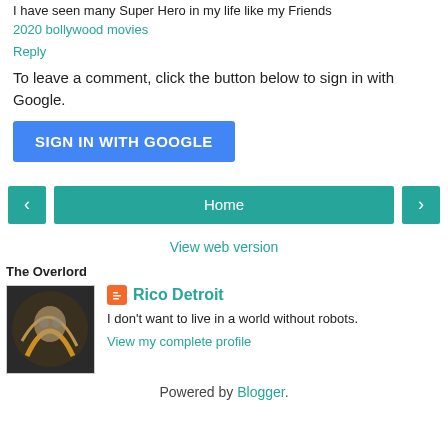I have seen many Super Hero in my life like my Friends
2020 bollywood movies
Reply
To leave a comment, click the button below to sign in with Google.
SIGN IN WITH GOOGLE
[Figure (screenshot): Navigation buttons: left arrow, Home button, right arrow]
View web version
The Overlord
[Figure (photo): Profile photo of Rico Detroit showing a person with light streaks]
Rico Detroit
I don't want to live in a world without robots.
View my complete profile
Powered by Blogger.